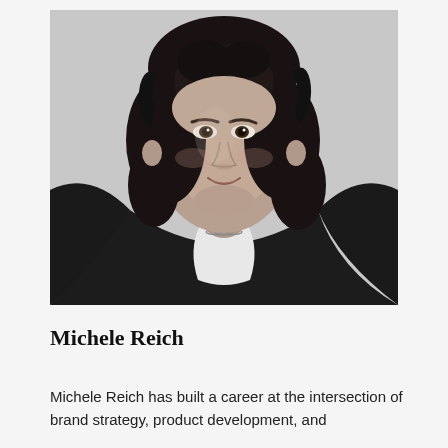[Figure (photo): Black and white headshot portrait of Michele Reich, a woman with shoulder-length curly dark hair, wearing a dark blazer over a white top with a delicate necklace, smiling slightly against a light background.]
Michele Reich
Michele Reich has built a career at the intersection of brand strategy, product development, and